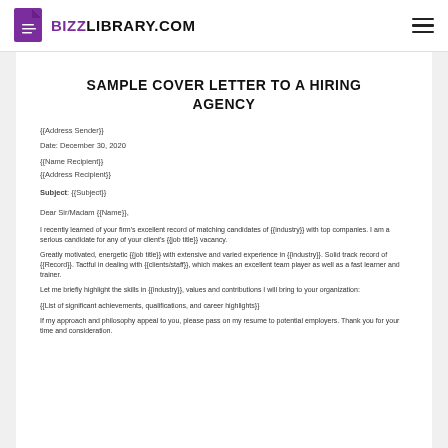BIZZLIBRARY.COM
SAMPLE COVER LETTER TO A HIRING AGENCY
{{Address Sender}}
Date: December 30, 2020
{{Name Recipient}}
{{Address Recipient}}
Subject: {{Subject}}
Dear Sir/Madam {{Name}},
I recently learned of your firm's excellent record of matching candidates of {{industry}} with top companies. I am a serious candidate for any of your client's {{job title}} vacancy.
Greatly motivated, energetic {{job title}} with extensive and varied experience in {{industry}}. Solid track record of {{Record}}. Tactful in dealing with {{clients/staff}}, which makes an excellent team player as well as a fast learner and trainer.
Let me briefly highlight the skills in {{industry}}, values and contributions I will bring to your organization:
{{List of significant achievements, qualifications, and career highlights}}
If my approach and philosophy appeal to you, please pass on my resume to potential employers. Thank you for your time and consideration.